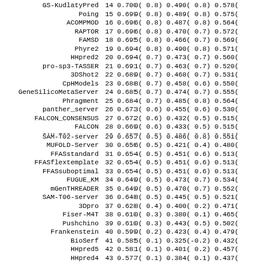| Name | Rank | Col1 | Col1z | Col2 | Col2z | Col3 |
| --- | --- | --- | --- | --- | --- | --- |
| GS-KudlatyPred | 14 | 0.700( | 0.8) | 0.490( | 0.8) | 0.578( |
| Poing | 15 | 0.699( | 0.8) | 0.489( | 0.8) | 0.575( |
| ACOMPMOD | 16 | 0.696( | 0.8) | 0.487( | 0.8) | 0.564( |
| RAPTOR | 17 | 0.696( | 0.8) | 0.470( | 0.7) | 0.572( |
| FAMSD | 18 | 0.695( | 0.8) | 0.466( | 0.7) | 0.569( |
| Phyre2 | 19 | 0.694( | 0.8) | 0.490( | 0.8) | 0.571( |
| HHpred2 | 20 | 0.694( | 0.7) | 0.473( | 0.7) | 0.560( |
| pro-sp3-TASSER | 21 | 0.691( | 0.7) | 0.463( | 0.7) | 0.520( |
| 3DShot2 | 22 | 0.689( | 0.7) | 0.468( | 0.7) | 0.531( |
| CpHModels | 23 | 0.688( | 0.7) | 0.458( | 0.6) | 0.550( |
| GeneSilicoMetaServer | 24 | 0.685( | 0.7) | 0.474( | 0.7) | 0.555( |
| Phragment | 25 | 0.684( | 0.7) | 0.485( | 0.8) | 0.564( |
| panther_server | 26 | 0.673( | 0.6) | 0.455( | 0.6) | 0.530( |
| FALCON_CONSENSUS | 27 | 0.672( | 0.6) | 0.432( | 0.5) | 0.515( |
| FALCON | 28 | 0.669( | 0.6) | 0.433( | 0.5) | 0.515( |
| SAM-T02-server | 29 | 0.657( | 0.5) | 0.486( | 0.8) | 0.551( |
| MUFOLD-Server | 30 | 0.656( | 0.5) | 0.421( | 0.4) | 0.480( |
| FFASstandard | 31 | 0.654( | 0.5) | 0.451( | 0.6) | 0.513( |
| FFASflextemplate | 32 | 0.654( | 0.5) | 0.451( | 0.6) | 0.513( |
| FFASsuboptimal | 33 | 0.654( | 0.5) | 0.451( | 0.6) | 0.513( |
| FUGUE_KM | 34 | 0.649( | 0.5) | 0.473( | 0.7) | 0.534( |
| mGenTHREADER | 35 | 0.649( | 0.5) | 0.470( | 0.7) | 0.552( |
| SAM-T06-server | 36 | 0.648( | 0.5) | 0.445( | 0.5) | 0.521( |
| 3Dpro | 37 | 0.628( | 0.4) | 0.400( | 0.2) | 0.471( |
| Fiser-M4T | 38 | 0.610( | 0.3) | 0.380( | 0.1) | 0.465( |
| Pushchino | 39 | 0.610( | 0.3) | 0.443( | 0.5) | 0.502( |
| Frankenstein | 40 | 0.599( | 0.2) | 0.423( | 0.4) | 0.479( |
| BioSerf | 41 | 0.585( | 0.1) | 0.325( | -0.2) | 0.432( |
| HHpred5 | 42 | 0.581( | 0.1) | 0.401( | 0.2) | 0.457( |
| HHpred4 | 43 | 0.577( | 0.1) | 0.384( | 0.1) | 0.437( |